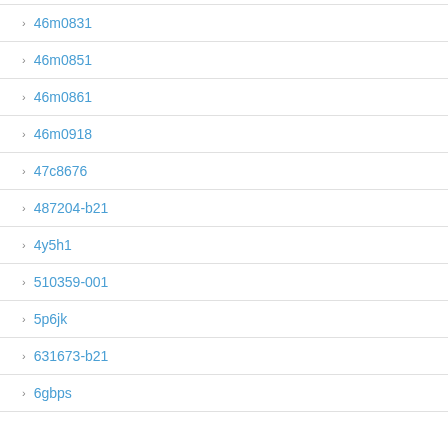46m0831
46m0851
46m0861
46m0918
47c8676
487204-b21
4y5h1
510359-001
5p6jk
631673-b21
6gbps